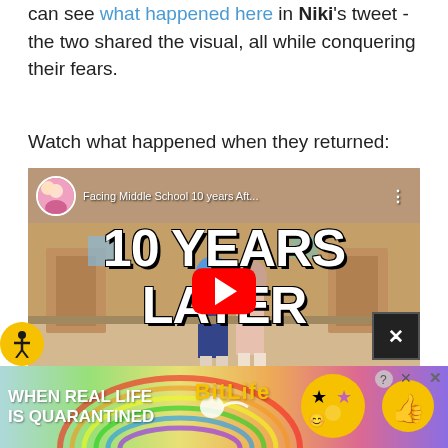can see what happened here in Niki's tweet - the two shared the visual, all while conquering their fears.
Watch what happened when they returned:
[Figure (screenshot): YouTube video thumbnail showing two young women standing in a school hallway/gymnasium with large white bold text reading '10 YEARS LATER'. A circular channel avatar is visible top-left, video title 'Facing Middle School 10 years Aft...' shown, and a red YouTube play button in the center. A close/X button overlay is visible bottom-right.]
[Figure (screenshot): Advertisement banner for BitLife game with rainbow gradient background, text 'WHEN REAL LIFE IS QUARANTINED' in white bold letters on left, BitLife logo in yellow, and emoji/icon decorations on the right.]